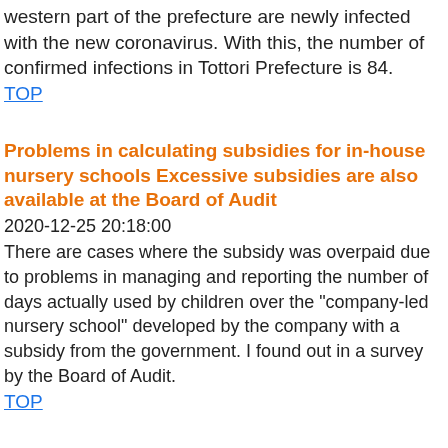western part of the prefecture are newly infected with the new coronavirus. With this, the number of confirmed infections in Tottori Prefecture is 84.
TOP
Problems in calculating subsidies for in-house nursery schools Excessive subsidies are also available at the Board of Audit
2020-12-25 20:18:00
There are cases where the subsidy was overpaid due to problems in managing and reporting the number of days actually used by children over the "company-led nursery school" developed by the company with a subsidy from the government. I found out in a survey by the Board of Audit.
TOP
Former Agriculture Minister Tamazawa shooting case to 5 years imprisonment Supreme Court dismisses